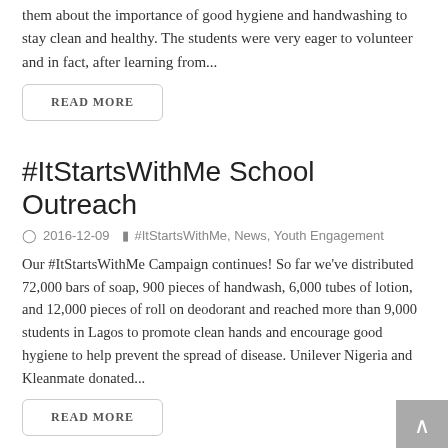them about the importance of good hygiene and handwashing to stay clean and healthy. The students were very eager to volunteer and in fact, after learning from...
READ MORE
#ItStartsWithMe School Outreach
2016-12-09   #ItStartsWithMe, News, Youth Engagement
Our #ItStartsWithMe Campaign continues! So far we've distributed 72,000 bars of soap, 900 pieces of handwash, 6,000 tubes of lotion, and 12,000 pieces of roll on deodorant and reached more than 9,000 students in Lagos to promote clean hands and encourage good hygiene to help prevent the spread of disease. Unilever Nigeria and Kleanmate donated...
READ MORE